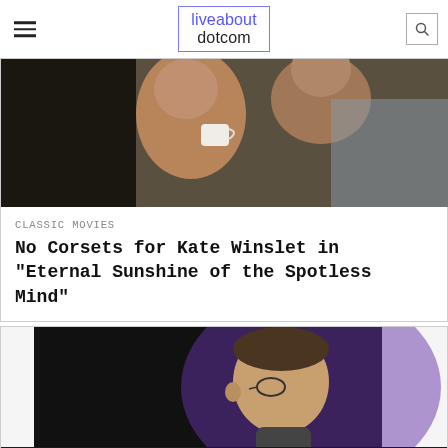liveabout dotcom
[Figure (photo): Two people lying in bed, one holding a white mug, from the film 'Eternal Sunshine of the Spotless Mind']
CLASSIC MOVIES
No Corsets for Kate Winslet in "Eternal Sunshine of the Spotless Mind"
[Figure (photo): Man in profile view with glasses, against dark purple background, resembling Stephen Colbert]
We help people find answers, solve problems and get inspired.